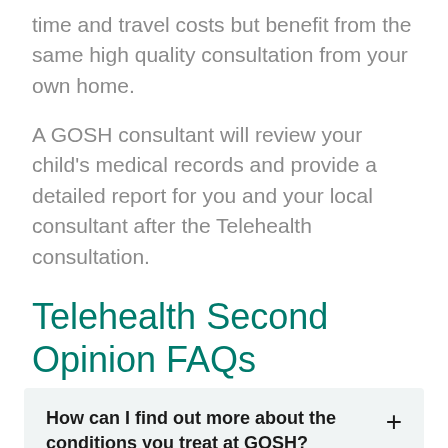time and travel costs but benefit from the same high quality consultation from your own home.
A GOSH consultant will review your child's medical records and provide a detailed report for you and your local consultant after the Telehealth consultation.
Telehealth Second Opinion FAQs
How can I find out more about the conditions you treat at GOSH?